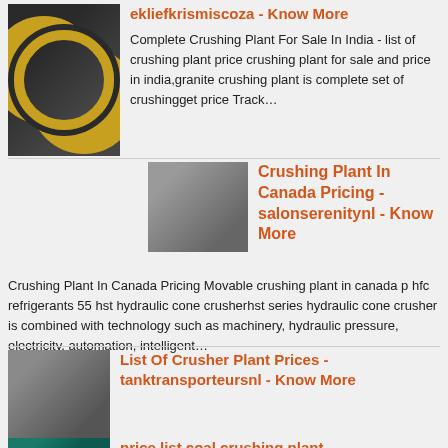ekliefkrismiscoza - Know More
Complete Crushing Plant For Sale In India - list of crushing plant price crushing plant for sale and price in india,granite crushing plant is complete set of crushingget price Track…
[Figure (photo): Industrial gear/crusher machinery with large yellow toothed gears on dark background]
[Figure (photo): Industrial crushing machine/fan equipment in a factory setting]
Crushing Plant In Canada Pricing - salonserenitynl - Know More
Crushing Plant In Canada Pricing Movable crushing plant in canada p hfc refrigerants 55 hst hydraulic cone crusherhst series hydraulic cone crusher is combined with technology such as machinery, hydraulic pressure, electricity, automation, intelligent…
[Figure (photo): Crusher plant equipment with metal components, industrial setting]
List Of Crusher Plant Prices - tanktransporteursnl - Know More
stone quarry crushing plant price list Stone Crusher Plant Prices - Alibaba Large capacity jaw rock crusher stone crushing plant price list for sale Zaohuang Rion stone crush…
[Figure (photo): Teal/green large industrial machine (coal crushing plant) in factory]
price list coal crushing plant - swissclassic2017ch - Know More